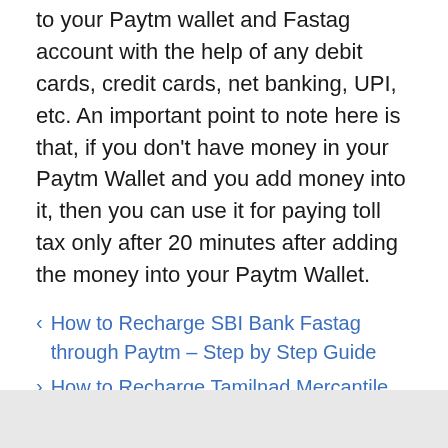to your Paytm wallet and Fastag account with the help of any debit cards, credit cards, net banking, UPI, etc. An important point to note here is that, if you don't have money in your Paytm Wallet and you add money into it, then you can use it for paying toll tax only after 20 minutes after adding the money into your Paytm Wallet.
How to Recharge SBI Bank Fastag through Paytm – Step by Step Guide
How to Recharge Tamilnad Mercantile Bank (TMB) Fastag through Paytm – Step by Step Guide